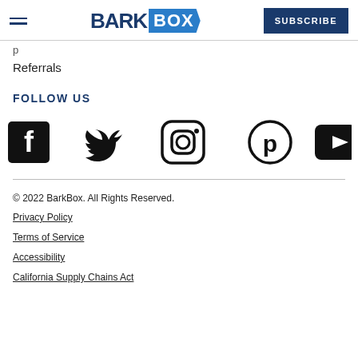[Figure (logo): BarkBox logo with hamburger menu and Subscribe button in header]
Referrals
FOLLOW US
[Figure (illustration): Social media icons row: Facebook, Twitter, Instagram, Pinterest, YouTube]
© 2022 BarkBox. All Rights Reserved.
Privacy Policy
Terms of Service
Accessibility
California Supply Chains Act